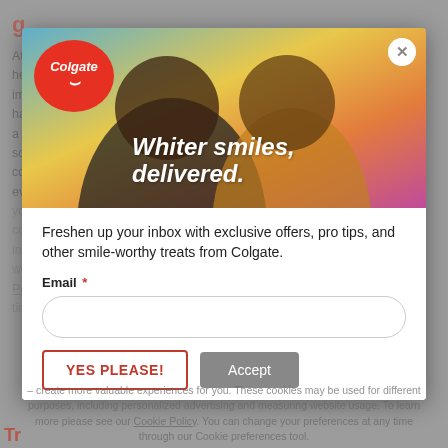[Figure (screenshot): Colgate advertisement modal popup overlay on a webpage. The modal contains a banner image of two smiling women with the text 'Whiter smiles, delivered.' overlaid in white italic bold font, the Colgate logo in a red circle, and a close X button. Below the image is a newsletter signup form with text 'Freshen up your inbox with exclusive offers, pro tips, and other smile-worthy treats from Colgate.' with an Email field, a 'YES PLEASE!' button, and an 'Accept' button. Background page content is partially visible and dimmed.]